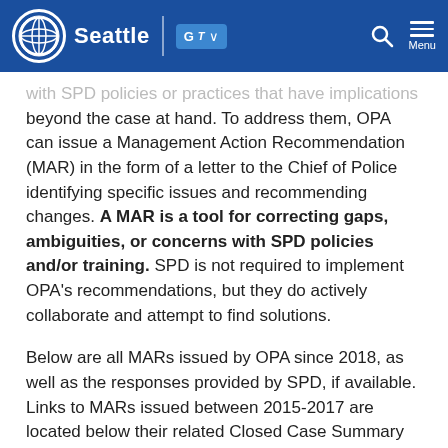Seattle [logo] | Google Translate | Search | Menu
with SPD policies or practices that have implications beyond the case at hand. To address them, OPA can issue a Management Action Recommendation (MAR) in the form of a letter to the Chief of Police identifying specific issues and recommending changes. A MAR is a tool for correcting gaps, ambiguities, or concerns with SPD policies and/or training. SPD is not required to implement OPA's recommendations, but they do actively collaborate and attempt to find solutions.
Below are all MARs issued by OPA since 2018, as well as the responses provided by SPD, if available. Links to MARs issued between 2015-2017 are located below their related Closed Case Summary on our Closed Case Summaries page.